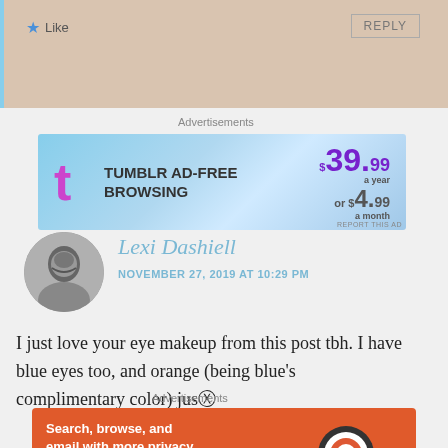[Figure (screenshot): Top portion of a blog comment section showing Like button, REPLY button on beige background]
Advertisements
[Figure (illustration): Tumblr Ad-Free Browsing advertisement banner. $39.99 a year or $4.99 a month]
[Figure (photo): Circular avatar of Lexi Dashiell, black and white portrait photo]
Lexi Dashiell
NOVEMBER 27, 2019 AT 10:29 PM
I just love your eye makeup from this post tbh. I have blue eyes too, and orange (being blue's complimentary color) jus
Advertisements
[Figure (illustration): DuckDuckGo advertisement. Search, browse, and email with more privacy. All in One Free App. Shows phone with DuckDuckGo logo.]